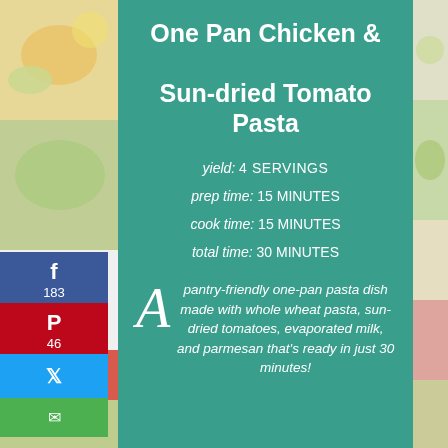[Figure (photo): Left side food photo strip showing colorful dish with vegetables]
[Figure (infographic): Social media sharing sidebar with Facebook (183), Pinterest (46), Twitter, and Email buttons. 229 total shares.]
One Pan Chicken & Sun-dried Tomato Pasta
yield: 4 SERVINGS
prep time: 15 MINUTES
cook time: 15 MINUTES
total time: 30 MINUTES
A pantry-friendly one-pan pasta dish made with whole wheat pasta, sun-dried tomatoes, evaporated milk, and parmesan that's ready in just 30 minutes!
[Figure (photo): Right side partial food photo strip]